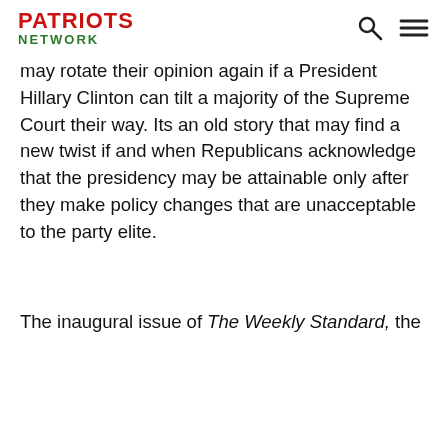PATRIOTS NETWORK
may rotate their opinion again if a President Hillary Clinton can tilt a majority of the Supreme Court their way. Its an old story that may find a new twist if and when Republicans acknowledge that the presidency may be attainable only after they make policy changes that are unacceptable to the party elite.
The inaugural issue of The Weekly Standard, the